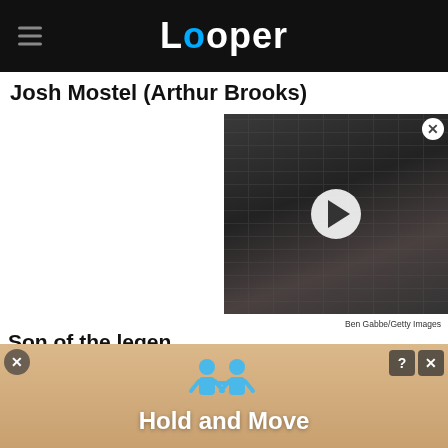Looper
Josh Mostel (Arthur Brooks)
[Figure (screenshot): Video thumbnail showing a person in a black mask/costume with mouth open, with a white play button circle overlay in the center. A close button (X) is in the top right corner.]
Ben Gabbe/Getty Images
Son of the legendary comedian Zero Mostel ("The...
[Figure (screenshot): Advertisement banner showing animated blue figures with text 'Hold and Move', with a peach/tan background. Has close (X) and question mark (?) buttons in top right.]